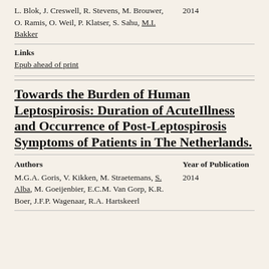L. Blok, J. Creswell, R. Stevens, M. Brouwer, O. Ramis, O. Weil, P. Klatser, S. Sahu, M.I. Bakker
2014
Links
Epub ahead of print
Towards the Burden of Human Leptospirosis: Duration of AcuteIllness and Occurrence of Post-Leptospirosis Symptoms of Patients in The Netherlands.
Authors
Year of Publication
M.G.A. Goris, V. Kikken, M. Straetemans, S. Alba, M. Goeijenbier, E.C.M. Van Gorp, K.R. Boer, J.F.P. Wagenaar, R.A. Hartskeerl
2014